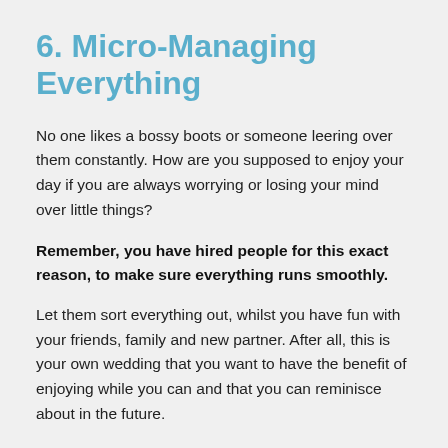6. Micro-Managing Everything
No one likes a bossy boots or someone leering over them constantly. How are you supposed to enjoy your day if you are always worrying or losing your mind over little things?
Remember, you have hired people for this exact reason, to make sure everything runs smoothly.
Let them sort everything out, whilst you have fun with your friends, family and new partner. After all, this is your own wedding that you want to have the benefit of enjoying while you can and that you can reminisce about in the future.
7. Not Having Any Entertainment During Th…